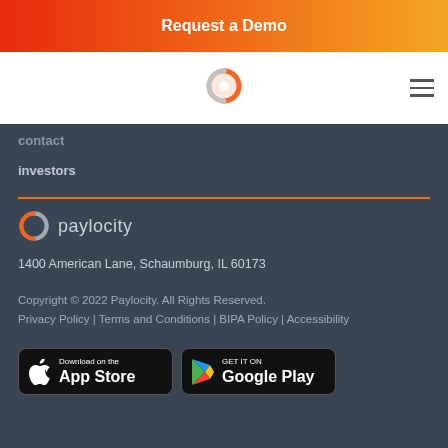Request a Demo
[Figure (logo): Paylocity circular logo mark in orange in navigation bar]
contact
investors
[Figure (logo): Paylocity logo with icon and wordmark in white/grey on dark background]
1400 American Lane, Schaumburg, IL 60173
Copyright © 2022 Paylocity. All Rights Reserved.
Privacy Policy | Terms and Conditions | BIPA Policy | Accessibility
[Figure (screenshot): Download on the App Store button]
[Figure (screenshot): GET IT ON Google Play button]